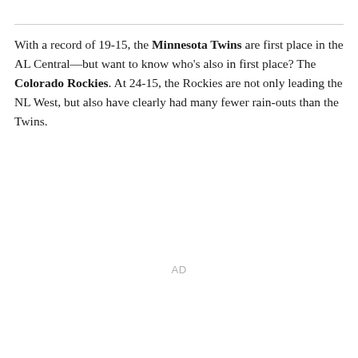With a record of 19-15, the Minnesota Twins are first place in the AL Central—but want to know who's also in first place? The Colorado Rockies. At 24-15, the Rockies are not only leading the NL West, but also have clearly had many fewer rain-outs than the Twins.
AD